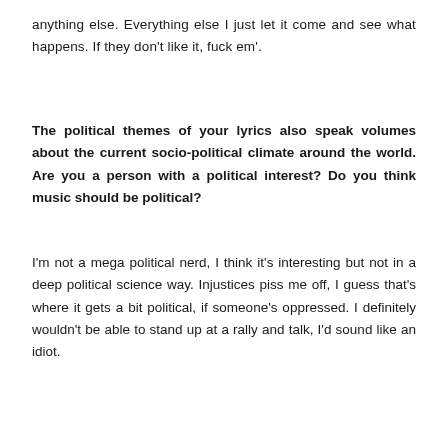anything else. Everything else I just let it come and see what happens. If they don't like it, fuck em'.
The political themes of your lyrics also speak volumes about the current socio-political climate around the world. Are you a person with a political interest? Do you think music should be political?
I'm not a mega political nerd, I think it's interesting but not in a deep political science way. Injustices piss me off, I guess that's where it gets a bit political, if someone's oppressed. I definitely wouldn't be able to stand up at a rally and talk, I'd sound like an idiot.